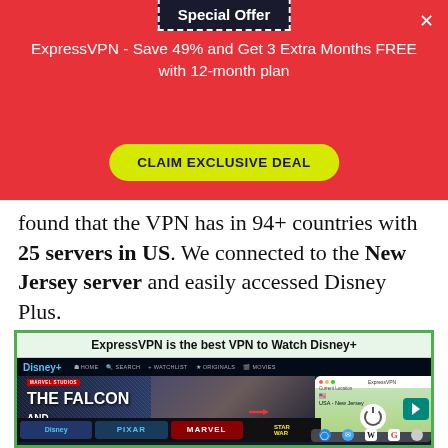Special Offer
ExpressVPN - Save 49% and Get 3 Extra Months FREE with 12-month plan
CLAIM EXCLUSIVE DEAL
found that the VPN has in 94+ countries with 25 servers in US. We connected to the New Jersey server and easily accessed Disney Plus.
[Figure (screenshot): Screenshot showing Disney+ homepage with The Falcon and The Winter Soldier hero banner, alongside ExpressVPN app panel showing connected to USA - New Jersey server with a red arrow pointing to the power button and current location.]
ExpressVPN is the best VPN to Watch Disney+